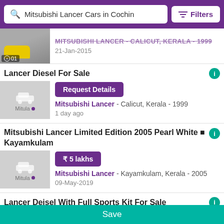Mitsubishi Lancer Cars in Cochin | Filters
[Figure (screenshot): Partial listing with yellow car thumbnail, crossed-out title, date 21-Jan-2015, count badge 01]
Lancer Diesel For Sale
[Figure (photo): Mitula placeholder thumbnail with car icon]
Request Details
Mitsubishi Lancer - Calicut, Kerala - 1999
1 day ago
Mitsubishi Lancer Limited Edition 2005 Pearl White  Kayamkulam
[Figure (photo): Mitula placeholder thumbnail with car icon]
₹ 5 lakhs
Mitsubishi Lancer - Kayamkulam, Kerala - 2005
09-May-2019
Lancer Deisel With Full Sports Kit For Sale
Save